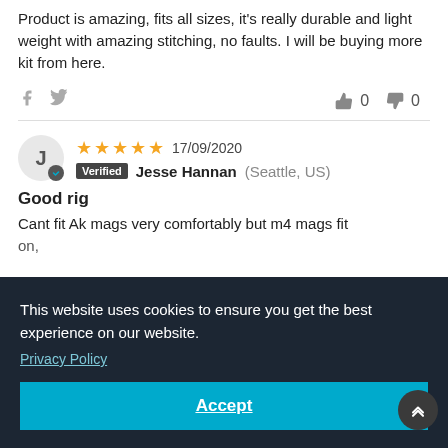Product is amazing, fits all sizes, it's really durable and light weight with amazing stitching, no faults. I will be buying more kit from here.
0  0
★★★★★  17/09/2020
Verified  Jesse Hannan (Seattle, US)
Good rig
Cant fit Ak mags very comfortably but m4 mags fit
This website uses cookies to ensure you get the best experience on our website.
Privacy Policy
Accept